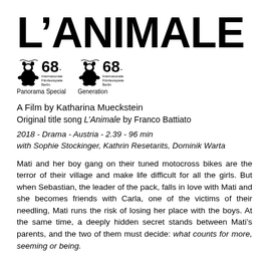L'ANIMALE
[Figure (logo): Two Berlinale 68th Film Festival logos side by side — Panorama Special and Generation]
A Film by Katharina Mueckstein
Original title song L'Animale by Franco Battiato
2018 - Drama - Austria - 2.39 - 96 min
with Sophie Stockinger, Kathrin Resetarits, Dominik Warta
Mati and her boy gang on their tuned motocross bikes are the terror of their village and make life difficult for all the girls. But when Sebastian, the leader of the pack, falls in love with Mati and she becomes friends with Carla, one of the victims of their needling, Mati runs the risk of losing her place with the boys. At the same time, a deeply hidden secret stands between Mati's parents, and the two of them must decide: what counts for more, seeming or being.